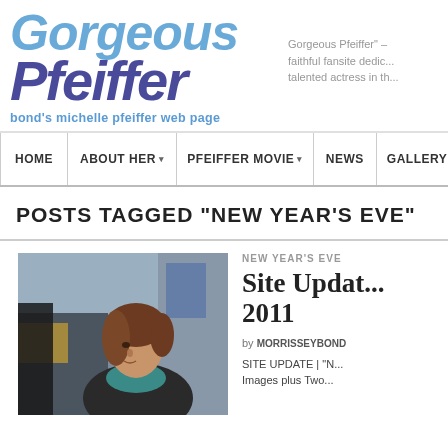[Figure (logo): Gorgeous Pfeiffer website logo with stylized blue/navy italic text and tagline 'bond's michelle pfeiffer web page']
Gorgeous Pfeiffer" – faithful fansite dedicated to the talented actress in th...
HOME | ABOUT HER ▾ | PFEIFFER MOVIE ▾ | NEWS | GALLERY
POSTS TAGGED "NEW YEAR'S EVE"
[Figure (photo): A woman with brown hair seen from the side in an office setting, wearing a teal shirt]
NEW YEAR'S EVE
Site Updat... 2011
by MORRISSEYBOND
SITE UPDATE | "N... Images plus Two...